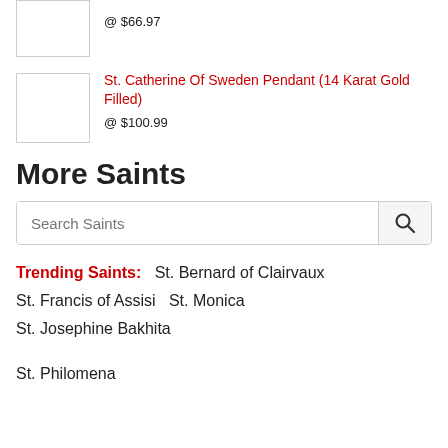@ $66.97
St. Catherine Of Sweden Pendant (14 Karat Gold Filled)
@ $100.99
More Saints
Search Saints
Trending Saints:   St. Bernard of Clairvaux
St. Francis of Assisi   St. Monica
St. Josephine Bakhita
St. Philomena